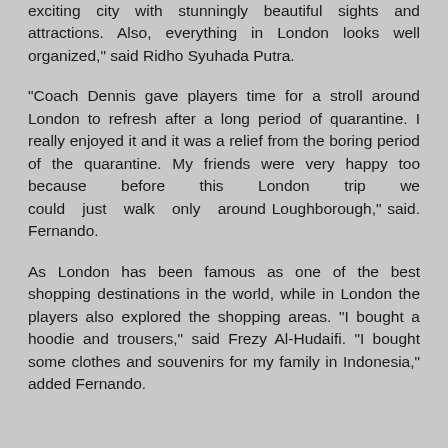exciting city with stunningly beautiful sights and attractions. Also, everything in London looks well organized," said Ridho Syuhada Putra.
"Coach Dennis gave players time for a stroll around London to refresh after a long period of quarantine. I really enjoyed it and it was a relief from the boring period of the quarantine. My friends were very happy too because before this London trip we could just walk only around Loughborough," said. Fernando.
As London has been famous as one of the best shopping destinations in the world, while in London the players also explored the shopping areas. "I bought a hoodie and trousers," said Frezy Al-Hudaifi. "I bought some clothes and souvenirs for my family in Indonesia," added Fernando.